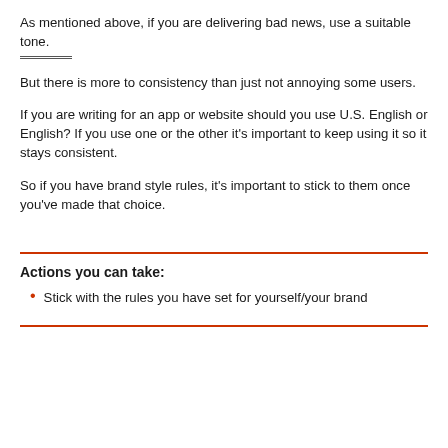As mentioned above, if you are delivering bad news, use a suitable tone.
But there is more to consistency than just not annoying some users.
If you are writing for an app or website should you use U.S. English or English? If you use one or the other it's important to keep using it so it stays consistent.
So if you have brand style rules, it's important to stick to them once you've made that choice.
Actions you can take:
Stick with the rules you have set for yourself/your brand